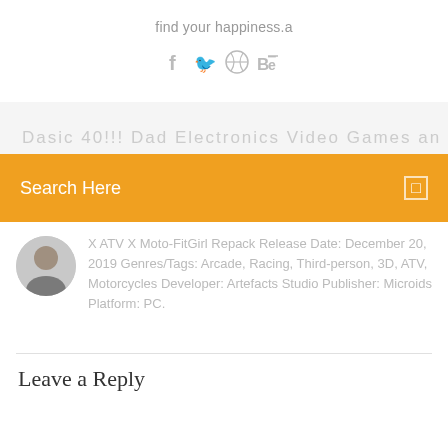find your happiness.a
[Figure (illustration): Social media icons: Facebook (f), Twitter bird, Dribbble, Behance (Be)]
Search Here
X ATV X Moto-FitGirl Repack Release Date: December 20, 2019 Genres/Tags: Arcade, Racing, Third-person, 3D, ATV, Motorcycles Developer: Artefacts Studio Publisher: Microids Platform: PC.
Leave a Reply